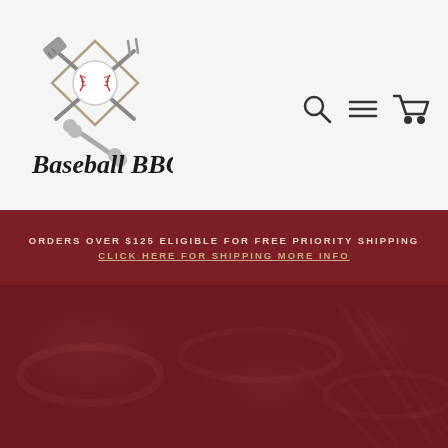[Figure (logo): Baseball BBQ logo: crossed spatula and baseball bat with baseball, script text 'Baseball BBQ']
[Figure (other): Navigation icons: search magnifying glass, hamburger menu, shopping cart]
ORDERS OVER $125 ELIGIBLE FOR FREE PRIORITY SHIPPING
CLICK HERE FOR SHIPPING MORE INFO
[Figure (photo): Dark red/maroon hero background image with BBQ food texture pattern (hot dogs, baseball bat grill marks) at low opacity]